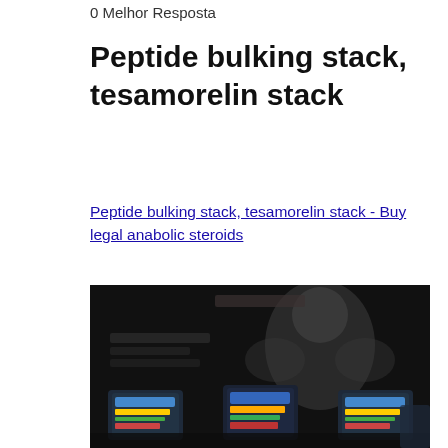0 Melhor Resposta
Peptide bulking stack, tesamorelin stack
Peptide bulking stack, tesamorelin stack - Buy legal anabolic steroids
[Figure (photo): Dark background promotional image showing supplement products with colorful labels, with a blurred human figure silhouette in the background]